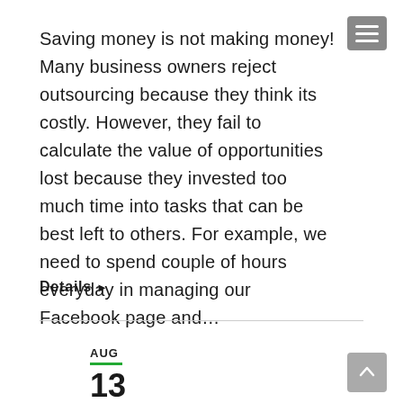Saving money is not making money! Many business owners reject outsourcing because they think its costly. However, they fail to calculate the value of opportunities lost because they invested too much time into tasks that can be best left to others. For example, we need to spend couple of hours everyday in managing our Facebook page and…
Details ▶
AUG 13